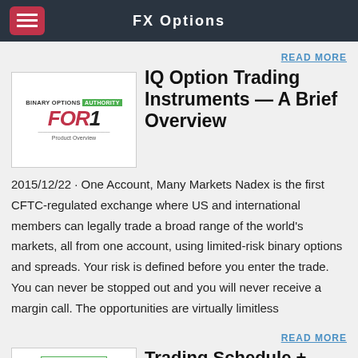FX Options
[Figure (logo): Binary Options Authority logo and FOR1 product overview thumbnail image]
READ MORE
IQ Option Trading Instruments — A Brief Overview
2015/12/22 · One Account, Many Markets Nadex is the first CFTC-regulated exchange where US and international members can legally trade a broad range of the world's markets, all from one account, using limited-risk binary options and spreads. Your risk is defined before you enter the trade. You can never be stopped out and you will never receive a margin call. The opportunities are virtually limitless
[Figure (screenshot): 24Option Binary Options Broker - Key Features And Overview thumbnail]
READ MORE
Trading Schedule + Weekly Overview Archive